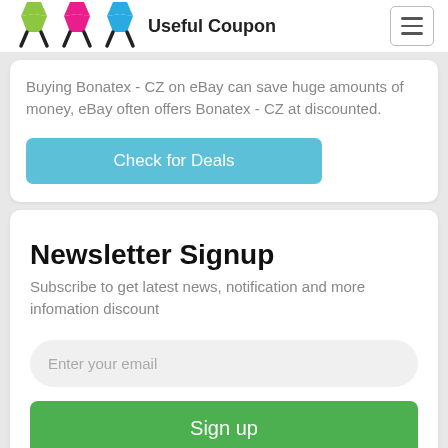[Figure (logo): Useful Coupon logo with three colorful running figure icons (green, pink, blue) and the text 'Useful Coupon']
Buying Bonatex - CZ on eBay can save huge amounts of money, eBay often offers Bonatex - CZ at discounted.
[Figure (other): Blue 'Check for Deals' button]
Newsletter Signup
Subscribe to get latest news, notification and more infomation discount
[Figure (other): Email input field with placeholder 'Enter your email']
[Figure (other): Green 'Sign up' button]
I hereby agree process my e-mail address data